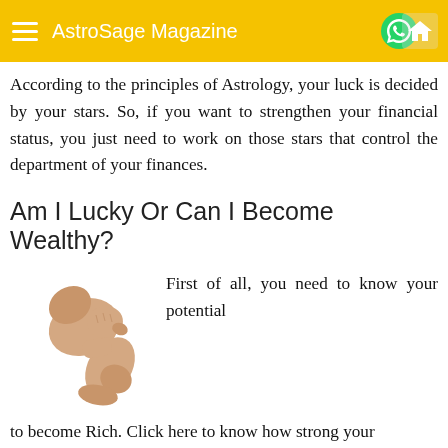AstroSage Magazine
According to the principles of Astrology, your luck is decided by your stars. So, if you want to strengthen your financial status, you just need to work on those stars that control the department of your finances.
Am I Lucky Or Can I Become Wealthy?
[Figure (photo): A muscular arm flexing a bicep against a white background]
First of all, you need to know your potential to become Rich. Click here to know how strong your